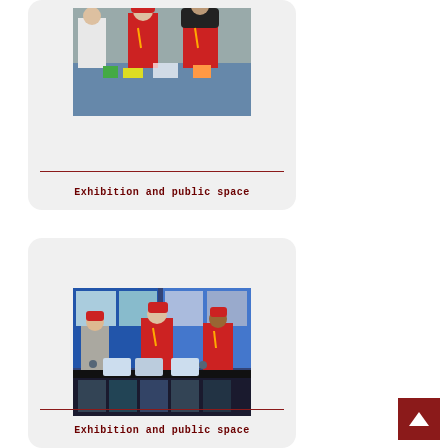[Figure (photo): People in red shirts and caps at an exhibition table with colorful items, some wearing hijabs]
Exhibition and public space
[Figure (photo): Three people in red shirts and caps standing behind a display table with laptops and printed materials at an exhibition booth]
Exhibition and public space